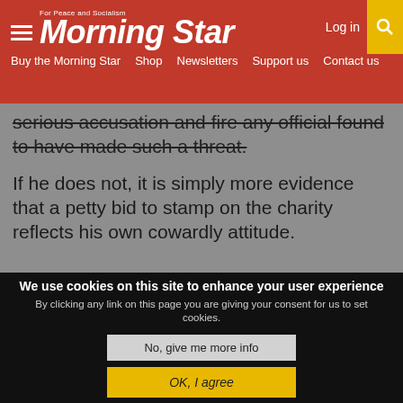Morning Star — For Peace and Socialism | Log in | Buy the Morning Star | Shop | Newsletters | Support us | Contact us
serious accusation and fire any official found to have made such a threat.
If he does not, it is simply more evidence that a petty bid to stamp on the charity reflects his own cowardly attitude.
OTHERS LIKED
We use cookies on this site to enhance your user experience
By clicking any link on this page you are giving your consent for us to set cookies.
No, give me more info
OK, I agree